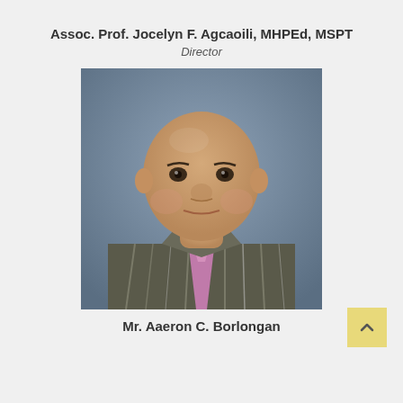Assoc. Prof. Jocelyn F. Agcaoili, MHPEd, MSPT
Director
[Figure (photo): Professional headshot of a man wearing a striped shirt and pink tie, blue-grey blurred background]
Mr. Aaeron C. Borlongan